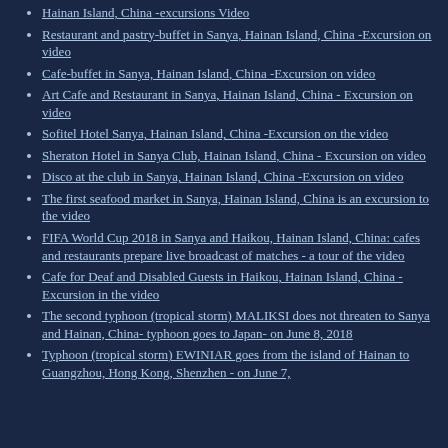Hainan Island, China -excursions Video
Restaurant and pastry-buffet in Sanya, Hainan Island, China -Excursion on video
Cafe-buffet in Sanya, Hainan Island, China -Excursion on video
Art Cafe and Restaurant in Sanya, Hainan Island, China - Excursion on video
Sofitel Hotel Sanya, Hainan Island, China -Excursion on the video
Sheraton Hotel in Sanya Club, Hainan Island, China - Excursion on video
Disco at the club in Sanya, Hainan Island, China -Excursion on video
The first seafood market in Sanya, Hainan Island, China is an excursion to the video
FIFA World Cup 2018 in Sanya and Haikou, Hainan Island, China: cafes and restaurants prepare live broadcast of matches - a tour of the video
Cafe for Deaf and Disabled Guests in Haikou, Hainan Island, China - Excursion in the video
The second typhoon (tropical storm) MALIKSI does not threaten to Sanya and Hainan, China- typhoon goes to Japan- on June 8, 2018
Typhoon (tropical storm) EWINIAR goes from the island of Hainan to Guangzhou, Hong Kong, Shenzhen - on June 7,